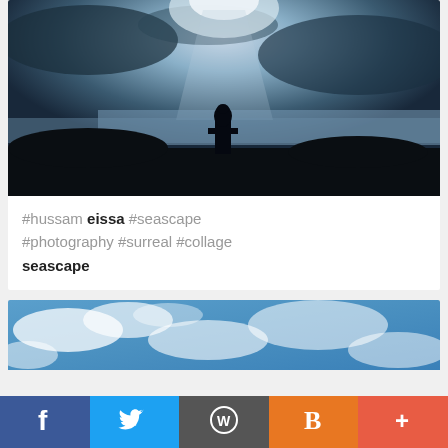[Figure (photo): Dark moody seascape photo with silhouette of a person standing on rocky shore, moonlight or spotlight beam through dramatic cloudy sky, blue-grey tones]
#hussam eissa #seascape #photography #surreal #collage seascape
[Figure (photo): Blue sky with wispy white clouds, partial view]
f (Facebook icon) Twitter bird icon WordPress icon Blogger B icon + icon